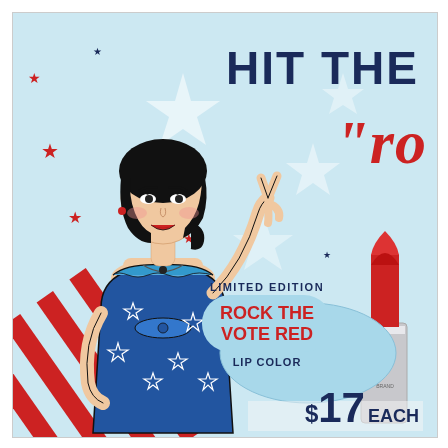[Figure (illustration): Patriotic advertisement for a limited edition 'Rock the Vote Red' lip color. Features an illustrated woman in a blue star-patterned strapless dress with a bow, making a peace sign. Background is light blue with white star shapes and red stars scattered around. Text reads 'HIT THE "ro' (partially visible, implying 'rock'), 'LIMITED EDITION ROCK THE VOTE RED LIP COLOR'. A red lipstick in a silver case is shown on the right. Price: $17 EACH. Red and white diagonal stripes in bottom left corner.]
HIT THE "ro
LIMITED EDITION ROCK THE VOTE RED LIP COLOR
$17 EACH